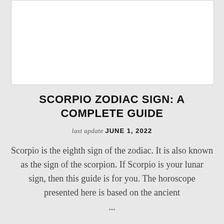[Figure (other): White rectangular image placeholder area at top of page]
SCORPIO ZODIAC SIGN: A COMPLETE GUIDE
last update JUNE 1, 2022
Scorpio is the eighth sign of the zodiac. It is also known as the sign of the scorpion. If Scorpio is your lunar sign, then this guide is for you. The horoscope presented here is based on the ancient ...